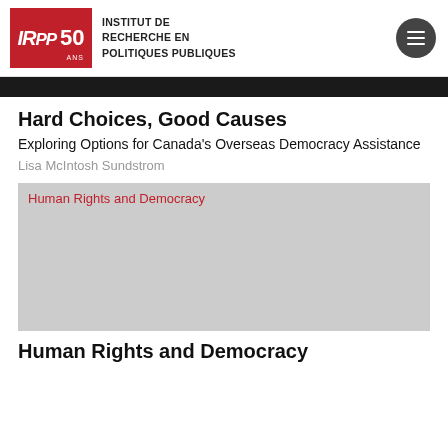IRPP 50 ANS — INSTITUT DE RECHERCHE EN POLITIQUES PUBLIQUES
[Figure (photo): Dark horizontal image strip showing a person partially visible at top of page]
Hard Choices, Good Causes
Exploring Options for Canada's Overseas Democracy Assistance
Lisa McIntosh Sundstrom
[Figure (photo): Gray placeholder image labeled 'Human Rights and Democracy']
Human Rights and Democracy